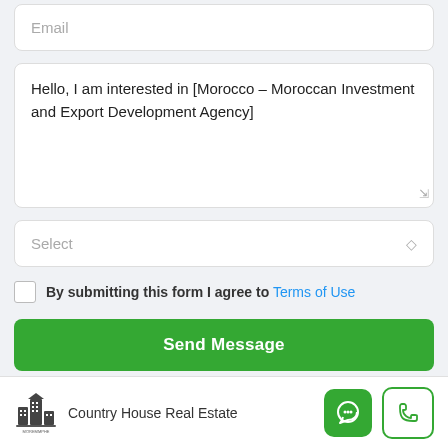Email
Hello, I am interested in [Morocco – Moroccan Investment and Export Development Agency]
Select
By submitting this form I agree to Terms of Use
Send Message
Country House Real Estate